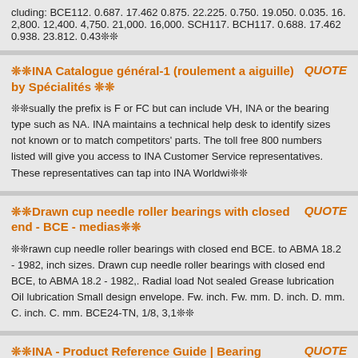cluding: BCE112. 0.687. 17.462 0.875. 22.225. 0.750. 19.050. 0.035. 16. 2,800. 12,400. 4,750. 21,000. 16,000. SCH117. BCH117. 0.688. 17.462 0.938. 23.812. 0.43❊❊
❊❊INA Catalogue général-1 (roulement a aiguille) by Spécialités ❊❊
❊❊sually the prefix is F or FC but can include VH, INA or the bearing type such as NA. INA maintains a technical help desk to identify sizes not known or to match competitors' parts. The toll free 800 numbers listed will give you access to INA Customer Service representatives. These representatives can tap into INA Worldwi❊❊
❊❊Drawn cup needle roller bearings with closed end - BCE - medias❊❊
❊❊rawn cup needle roller bearings with closed end BCE. to ABMA 18.2 - 1982, inch sizes. Drawn cup needle roller bearings with closed end BCE, to ABMA 18.2 - 1982,. Radial load Not sealed Grease lubrication Oil lubrication Small design envelope. Fw. inch. Fw. mm. D. inch. D. mm. C. inch. C. mm. BCE24-TN, 1/8, 3,1❊❊
❊❊INA - Product Reference Guide | Bearing (Mechanical) | Portable ❊❊